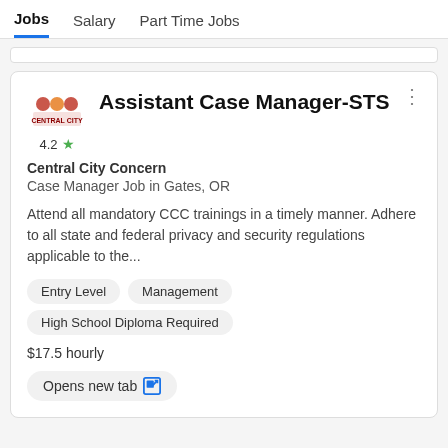Jobs   Salary   Part Time Jobs
Assistant Case Manager-STS
Central City Concern
Case Manager Job in Gates, OR
Attend all mandatory CCC trainings in a timely manner. Adhere to all state and federal privacy and security regulations applicable to the...
Entry Level
Management
High School Diploma Required
$17.5 hourly
Opens new tab